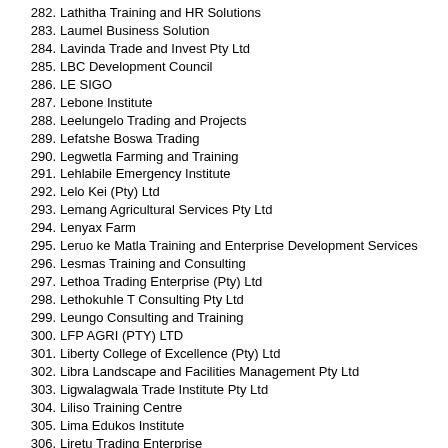282. Lathitha Training and HR Solutions
283. Laumel Business Solution
284. Lavinda Trade and Invest Pty Ltd
285. LBC Development Council
286. LE SIGO
287. Lebone Institute
288. Leelungelo Trading and Projects
289. Lefatshe Boswa Trading
290. Legwetla Farming and Training
291. Lehlabile Emergency Institute
292. Lelo Kei (Pty) Ltd
293. Lemang Agricultural Services Pty Ltd
294. Lenyax Farm
295. Leruo ke Matla Training and Enterprise Development Services
296. Lesmas Training and Consulting
297. Lethoa Trading Enterprise (Pty) Ltd
298. Lethokuhle T Consulting Pty Ltd
299. Leungo Consulting and Training
300. LFP AGRI (PTY) LTD
301. Liberty College of Excellence (Pty) Ltd
302. Libra Landscape and Facilities Management Pty Ltd
303. Ligwalagwala Trade Institute Pty Ltd
304. Liliso Training Centre
305. Lima Edukos Institute
306. Liretu Trading Enterprise
307. Lisakhanya Skills Development Consultants